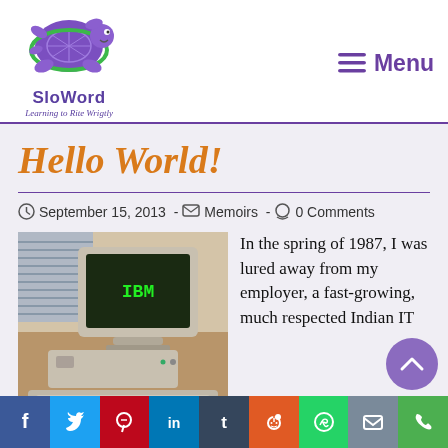SloWord — Learning to Rite Wrigtly — Menu
Hello World!
September 15, 2013 - Memoirs - 0 Comments
[Figure (photo): Old IBM personal computer with green-text monitor and keyboard on a desk]
In the spring of 1987, I was lured away from my employer, a fast-growing, much respected Indian IT